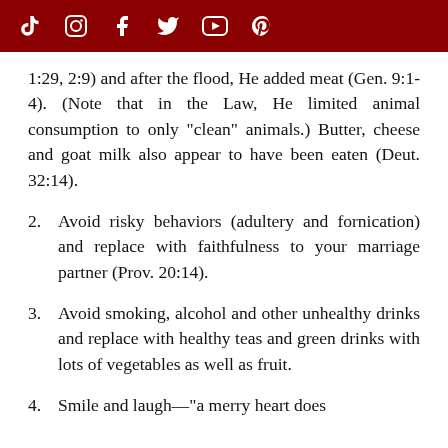[Social media icons: TikTok, Instagram, Facebook, Twitter, YouTube, Pinterest]
1:29, 2:9) and after the flood, He added meat (Gen. 9:1-4). (Note that in the Law, He limited animal consumption to only "clean" animals.) Butter, cheese and goat milk also appear to have been eaten (Deut. 32:14).
2. Avoid risky behaviors (adultery and fornication) and replace with faithfulness to your marriage partner (Prov. 20:14).
3. Avoid smoking, alcohol and other unhealthy drinks and replace with healthy teas and green drinks with lots of vegetables as well as fruit.
4. Smile and laugh—"a merry heart does